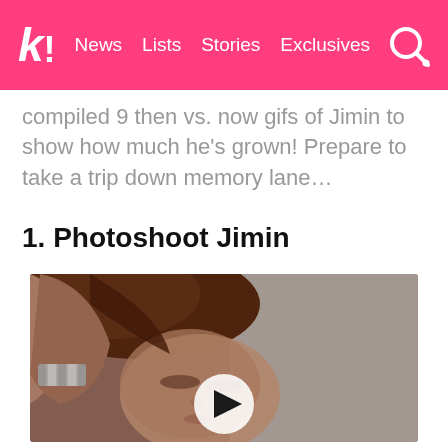k! News Lists Stories Exclusives
compiled 9 then vs. now gifs of Jimin to show how much he's grown! Prepare to take a trip down memory lane…
1. Photoshoot Jimin
[Figure (photo): Photo of Jimin from a photoshoot, hand raised to head, with a play button overlay indicating a GIF or video]